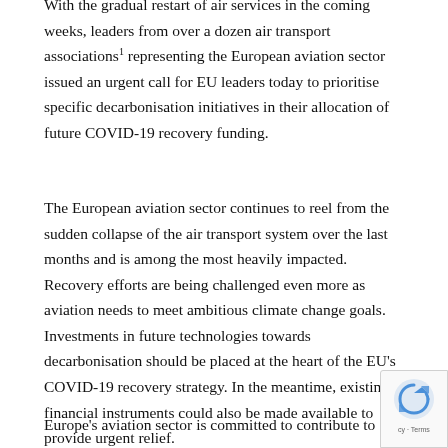With the gradual restart of air services in the coming weeks, leaders from over a dozen air transport associations1 representing the European aviation sector issued an urgent call for EU leaders today to prioritise specific decarbonisation initiatives in their allocation of future COVID-19 recovery funding.
The European aviation sector continues to reel from the sudden collapse of the air transport system over the last months and is among the most heavily impacted. Recovery efforts are being challenged even more as aviation needs to meet ambitious climate change goals. Investments in future technologies towards decarbonisation should be placed at the heart of the EU's COVID-19 recovery strategy. In the meantime, existing financial instruments could also be made available to provide urgent relief.
Europe's aviation sector is committed to contribute to